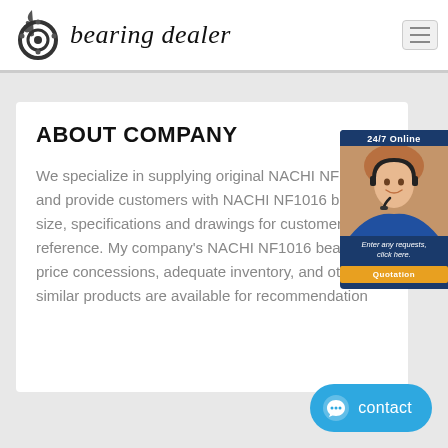bearing dealer
ABOUT COMPANY
We specialize in supplying original NACHI NF1016 and provide customers with NACHI NF1016 bearing size, specifications and drawings for customer reference. My company's NACHI NF1016 bearing price concessions, adequate inventory, and other similar products are available for recommendation
[Figure (photo): Customer service representative with headset, 24/7 Online popup with Quotation button]
contact